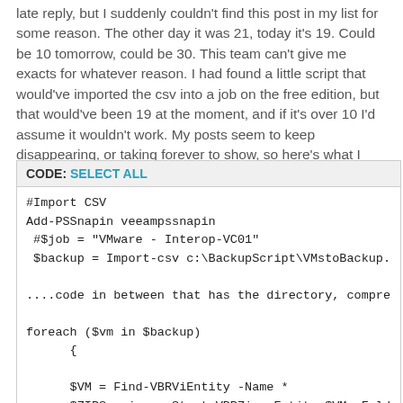late reply, but I suddenly couldn't find this post in my list for some reason. The other day it was 21, today it's 19. Could be 10 tomorrow, could be 30. This team can't give me exacts for whatever reason. I had found a little script that would've imported the csv into a job on the free edition, but that would've been 19 at the moment, and if it's over 10 I'd assume it wouldn't work. My posts seem to keep disappearing, or taking forever to show, so here's what I have at the latest:
[Figure (screenshot): Code block with header 'CODE: SELECT ALL' and PowerShell/Veeam script content including #Import CSV, Add-PSSnapin veeampssnapin, variable assignments, foreach loop, and function calls]